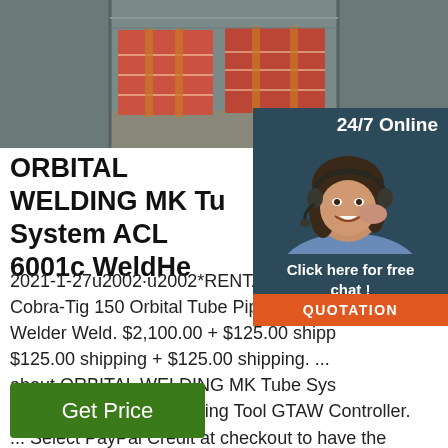[Figure (photo): Photo of red shrink-wrapped packages/coils inside a shipping container, viewed from the front opening]
24/7 Online
[Figure (photo): Customer service representative woman wearing a headset, smiling]
Click here for free chat !
QUOTATION
ORBITAL WELDING MK Tube System ACL 6001c WeldHead
2021-1-27u2002·u2002*RENTAL MK Products Cobra-Tig 150 Orbital Tube Pipe Welding Welder Weld. $2,100.00 + $125.00 shipping + $125.00 shipping + $125.00 shipping. ... about ORBITAL WELDING MK Tube System ACL 6001c WeldHead W Facing Tool GTAW Controller. ... Select PayPal Credit at checkout to have the option to pay over time.
Get Price